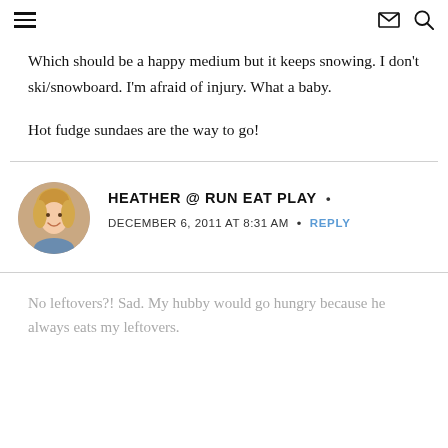navigation header with hamburger menu, envelope icon, and search icon
Which should be a happy medium but it keeps snowing. I don't ski/snowboard. I'm afraid of injury. What a baby.

Hot fudge sundaes are the way to go!
HEATHER @ RUN EAT PLAY
DECEMBER 6, 2011 AT 8:31 AM • REPLY
No leftovers?! Sad. My hubby would go hungry because he always eats my leftovers.